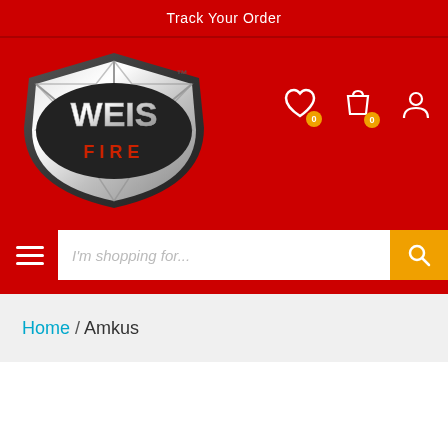Track Your Order
[Figure (logo): Weis Fire logo - silver badge/shield shape with WEIS text and FIRE text below, TM mark, on red background]
Home / Amkus